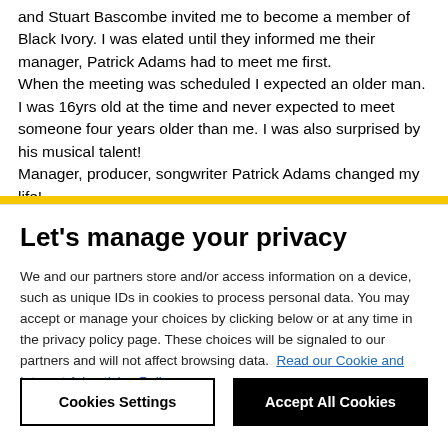and Stuart Bascombe invited me to become a member of Black Ivory. I was elated until they informed me their manager, Patrick Adams had to meet me first. When the meeting was scheduled I expected an older man. I was 16yrs old at the time and never expected to meet someone four years older than me. I was also surprised by his musical talent! Manager, producer, songwriter Patrick Adams changed my life! I will forever be thankful to him for helping me achieve
Let's manage your privacy
We and our partners store and/or access information on a device, such as unique IDs in cookies to process personal data. You may accept or manage your choices by clicking below or at any time in the privacy policy page. These choices will be signaled to our partners and will not affect browsing data. Read our Cookie and Internet Advertising Policy
Cookies Settings
Accept All Cookies